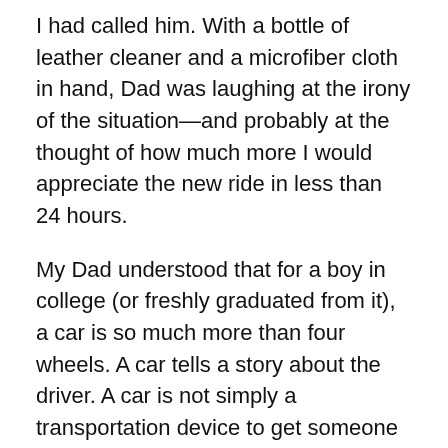I had called him. With a bottle of leather cleaner and a microfiber cloth in hand, Dad was laughing at the irony of the situation—and probably at the thought of how much more I would appreciate the new ride in less than 24 hours.
My Dad understood that for a boy in college (or freshly graduated from it), a car is so much more than four wheels. A car tells a story about the driver. A car is not simply a transportation device to get someone from Point A to Point B. A car has character. A car has its own story to tell. And a car, in my life, represents much more than freedom.
“You’ve worked really, really hard in college,” my